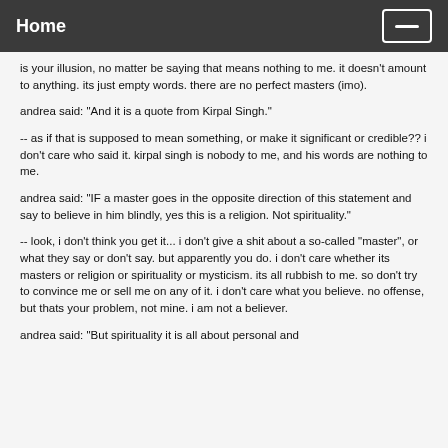Home
is your illusion, no matter be saying that means nothing to me. it doesn't amount to anything. its just empty words. there are no perfect masters (imo).
andrea said: "And it is a quote from Kirpal Singh."
-- as if that is supposed to mean something, or make it significant or credible?? i don't care who said it. kirpal singh is nobody to me, and his words are nothing to me.
andrea said: "IF a master goes in the opposite direction of this statement and say to believe in him blindly, yes this is a religion. Not spirituality."
-- look, i don't think you get it... i don't give a shit about a so-called "master", or what they say or don't say. but apparently you do. i don't care whether its masters or religion or spirituality or mysticism. its all rubbish to me. so don't try to convince me or sell me on any of it. i don't care what you believe. no offense, but thats your problem, not mine. i am not a believer.
andrea said: "But spirituality it is all about personal and